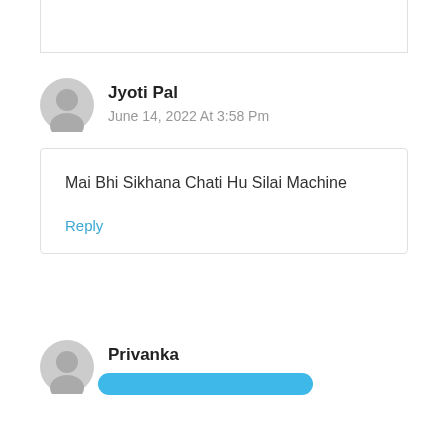Jyoti Pal
June 14, 2022 At 3:58 Pm
Mai Bhi Sikhana Chati Hu Silai Machine
Reply
Privanka
June 14, 2022 At 10:55 Pm